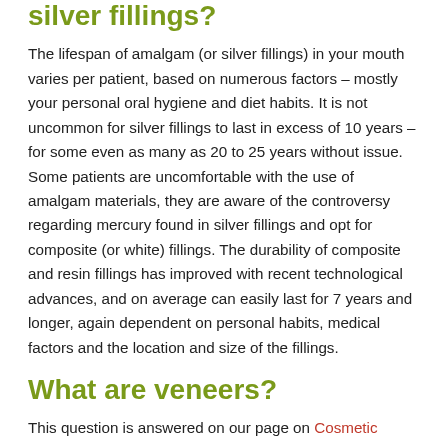silver fillings?
The lifespan of amalgam (or silver fillings) in your mouth varies per patient, based on numerous factors – mostly your personal oral hygiene and diet habits. It is not uncommon for silver fillings to last in excess of 10 years – for some even as many as 20 to 25 years without issue. Some patients are uncomfortable with the use of amalgam materials, they are aware of the controversy regarding mercury found in silver fillings and opt for composite (or white) fillings. The durability of composite and resin fillings has improved with recent technological advances, and on average can easily last for 7 years and longer, again dependent on personal habits, medical factors and the location and size of the fillings.
What are veneers?
This question is answered on our page on Cosmetic